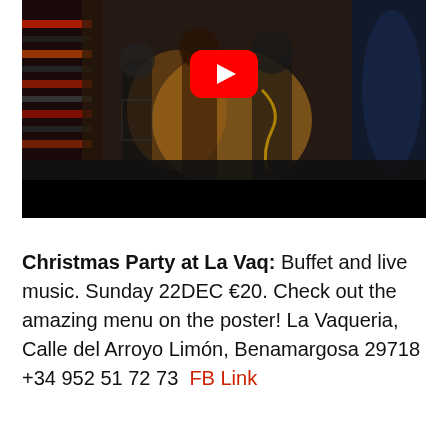[Figure (screenshot): A YouTube video thumbnail showing performers on a stage with colorful lighting, with the YouTube play button overlay in the center. A black letterbox bar appears at the bottom of the video player.]
Christmas Party at La Vaq: Buffet and live music. Sunday 22DEC €20. Check out the amazing menu on the poster! La Vaqueria, Calle del Arroyo Limón, Benamargosa 29718 +34 952 51 72 73  FB Link